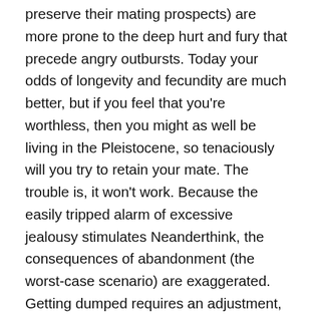preserve their mating prospects) are more prone to the deep hurt and fury that precede angry outbursts. Today your odds of longevity and fecundity are much better, but if you feel that you're worthless, then you might as well be living in the Pleistocene, so tenaciously will you try to retain your mate. The trouble is, it won't work. Because the easily tripped alarm of excessive jealousy stimulates Neanderthink, the consequences of abandonment (the worst-case scenario) are exaggerated. Getting dumped requires an adjustment, and although that adjustment is rarely life or (genetic) death, as it might have been eons ago, we still fear the loss of our partner and crave constant reassurance. Paradoxically, however, a person who needs reassurance of devotion and fidelity will drive a partner away and into the arms of a rival. Othello instructed us: Harmful jealousy springs from a weak sense of self.. By accepting that perfect reassurance cannot really exist and